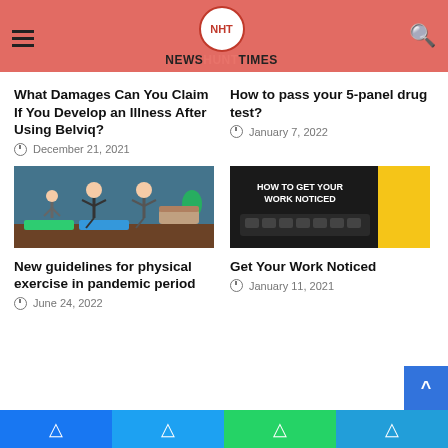NEWSHUNTTIMES
What Damages Can You Claim If You Develop an Illness After Using Belviq?
December 21, 2021
How to pass your 5-panel drug test?
January 7, 2022
[Figure (photo): Family doing yoga/balance exercise in living room on colorful mats]
New guidelines for physical exercise in pandemic period
June 24, 2022
[Figure (photo): Dark background with typewriter, yellow stripe on right, text HOW TO GET YOUR WORK NOTICED]
Get Your Work Noticed
January 11, 2021
Facebook Twitter WhatsApp Telegram